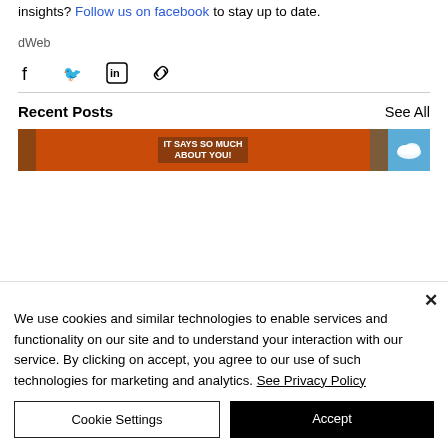insights? Follow us on facebook to stay up to date.
dWeb
[Figure (infographic): Share icons: Facebook, Twitter, LinkedIn, and link/chain icon]
Recent Posts
See All
[Figure (photo): Thumbnail strip: brown panel, orange comic-style illustration with text 'IT SAYS SO MUCH ABOUT YOU!', brown panel, blue cloud icon panel]
We use cookies and similar technologies to enable services and functionality on our site and to understand your interaction with our service. By clicking on accept, you agree to our use of such technologies for marketing and analytics. See Privacy Policy